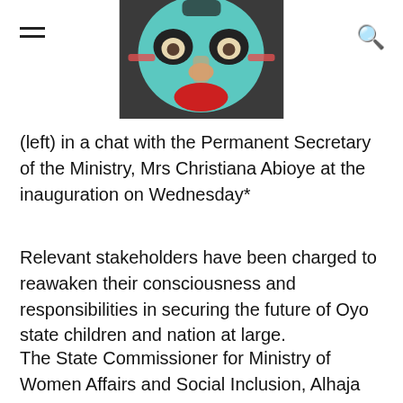[Figure (photo): Cropped photo of a person wearing colorful face paint or a mask with teal/blue, red, and dark markings, visible from forehead to mid-face]
(left) in a chat with the Permanent Secretary of the Ministry, Mrs Christiana Abioye at the inauguration on Wednesday*
Relevant stakeholders have been charged to reawaken their consciousness and responsibilities in securing the future of Oyo state children and nation at large.
The State Commissioner for Ministry of Women Affairs and Social Inclusion, Alhaja Faosat Sanni gave the charge while inaugurating the inter ministerial state planning committee for year 2021